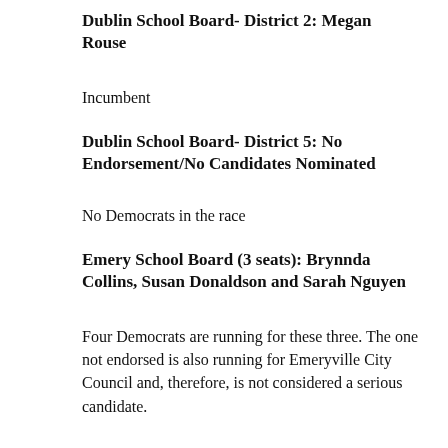Dublin School Board- District 2:  Megan Rouse
Incumbent
Dublin School Board- District 5:  No Endorsement/No Candidates Nominated
No Democrats in the race
Emery School Board (3 seats): Brynnda Collins, Susan Donaldson and Sarah Nguyen
Four Democrats are running for these three. The one not endorsed is also running for Emeryville City Council and, therefore, is not considered a serious candidate.